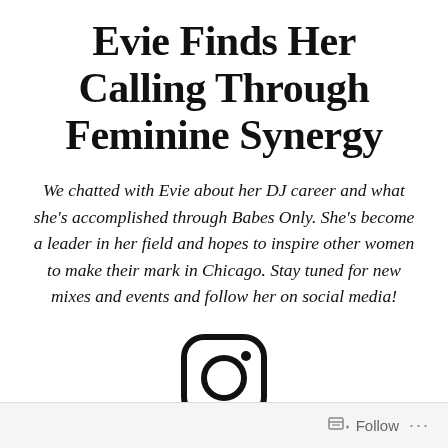Evie Finds Her Calling Through Feminine Synergy
We chatted with Evie about her DJ career and what she's accomplished through Babes Only. She's become a leader in her field and hopes to inspire other women to make their mark in Chicago. Stay tuned for new mixes and events and follow her on social media!
[Figure (logo): Instagram logo icon — rounded square outline with a circle in the center and a small dot in the upper right]
Follow ...